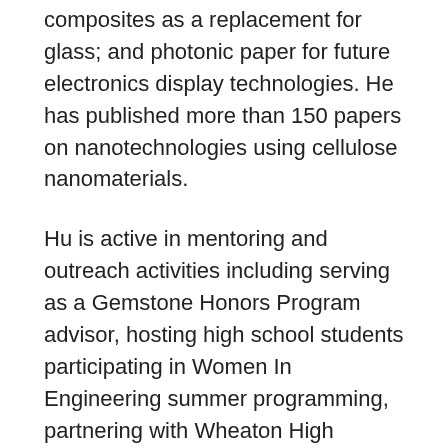composites as a replacement for glass; and photonic paper for future electronics display technologies. He has published more than 150 papers on nanotechnologies using cellulose nanomaterials.
Hu is active in mentoring and outreach activities including serving as a Gemstone Honors Program advisor, hosting high school students participating in Women In Engineering summer programming, partnering with Wheaton High School to create summer internships and new science lessons, and talking to visitors of all ages about materials science at Maryland Day. Hu is an MRS Fellow and has been ranked in the top 2 percent of world scientists by Stanford